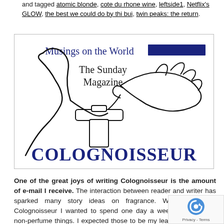and tagged atomic blonde, cote du rhone wine, leftside1, Netflix's GLOW, the best we could do by thi bui, twin peaks: the return.
[Figure (logo): Colognoisseur logo image: hand-drawn illustration of a hand holding a perfume bottle sprayer, with text 'Musings on the World [redacted] The Sunday Magazine' at the top and 'COLOGNOISSEUR' in large blue serif letters at the bottom.]
One of the great joys of writing Colognoisseur is the amount of e-mail I receive. The interaction between reader and writer has sparked many story ideas on fragrance. When I started Colognoisseur I wanted to spend one day a week writing about non-perfume things. I expected those to be my least read piece of the week, or more has been a pleasant surprise is some of the readership interested in the same things I am. I also get e-mails about that too.